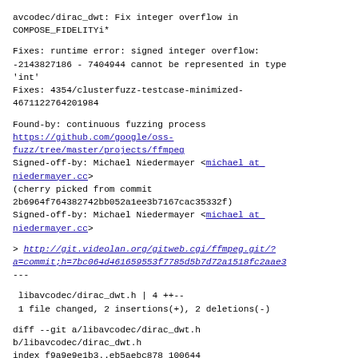avcodec/dirac_dwt: Fix integer overflow in COMPOSE_FIDELITYi*
Fixes: runtime error: signed integer overflow: -2143827186 - 7404944 cannot be represented in type 'int'
Fixes: 4354/clusterfuzz-testcase-minimized-4671122764201984
Found-by: continuous fuzzing process
https://github.com/google/oss-fuzz/tree/master/projects/ffmpeg
Signed-off-by: Michael Niedermayer <michael at niedermayer.cc>
(cherry picked from commit 2b6964f764382742bb052a1ee3b7167cac35332f)
Signed-off-by: Michael Niedermayer <michael at niedermayer.cc>
> http://git.videolan.org/gitweb.cgi/ffmpeg.git/?a=commit;h=7bc064d461659553f7785d5b7d72a1518fc2aae3
---
libavcodec/dirac_dwt.h | 4 ++--
 1 file changed, 2 insertions(+), 2 deletions(-)
diff --git a/libavcodec/dirac_dwt.h b/libavcodec/dirac_dwt.h
index f9a9e9e1b3..eb5aebc878 100644